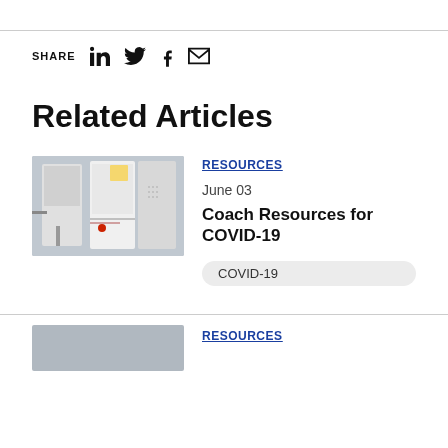SHARE
Related Articles
[Figure (photo): Photo of medical/lab equipment mounted on a wall, showing devices with cables and a red indicator light]
RESOURCES
June 03
Coach Resources for COVID-19
COVID-19
RESOURCES